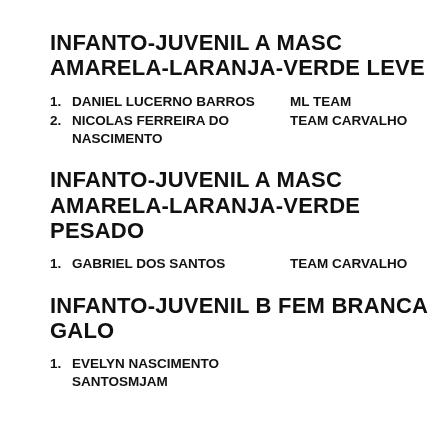INFANTO-JUVENIL A MASC AMARELA-LARANJA-VERDE LEVE
1. DANIEL LUCERNO BARROS   ML TEAM
2. NICOLAS FERREIRA DO NASCIMENTO   TEAM CARVALHO
INFANTO-JUVENIL A MASC AMARELA-LARANJA-VERDE PESADO
1. GABRIEL DOS SANTOS   TEAM CARVALHO
INFANTO-JUVENIL B FEM BRANCA GALO
1. EVELYN NASCIMENTO SANTOS   MJAM